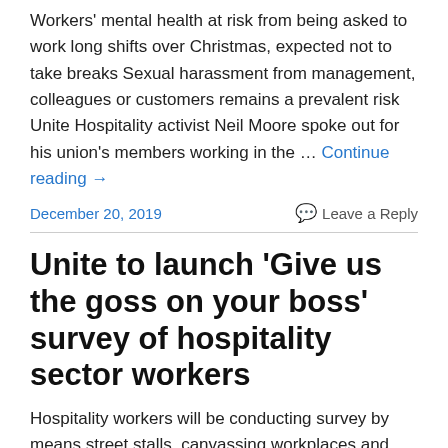Workers' mental health at risk from being asked to work long shifts over Christmas, expected not to take breaks Sexual harassment from management, colleagues or customers remains a prevalent risk Unite Hospitality activist Neil Moore spoke out for his union's members working in the … Continue reading →
December 20, 2019
Leave a Reply
Unite to launch 'Give us the goss on your boss' survey of hospitality sector workers
Hospitality workers will be conducting survey by means street stalls, canvassing workplaces and online website